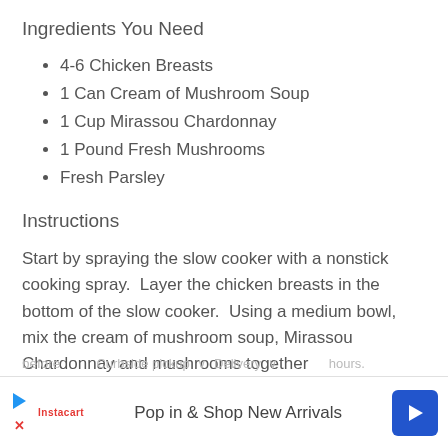Ingredients You Need
4-6 Chicken Breasts
1 Can Cream of Mushroom Soup
1 Cup Mirassou Chardonnay
1 Pound Fresh Mushrooms
Fresh Parsley
Instructions
Start by spraying the slow cooker with a nonstick cooking spray.  Layer the chicken breasts in the bottom of the slow cooker.  Using a medium bowl, mix the cream of mushroom soup, Mirassou Chardonnay and mushrooms together before pouring over the chicken. Cook for 4-6 hours. Sprinkle fresh parsley on top before serving.
[Figure (other): Advertisement banner: Instacart logo with play and close buttons, text 'Pop in & Shop New Arrivals', and a blue navigation arrow icon]